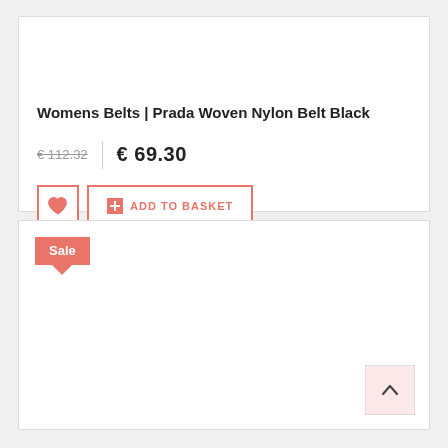Womens Belts | Prada Woven Nylon Belt Black
€ 112.32  € 69.30
ADD TO BASKET
[Figure (other): Sale badge with red background and downward arrow tail]
[Figure (other): Back to top button with upward arrow]